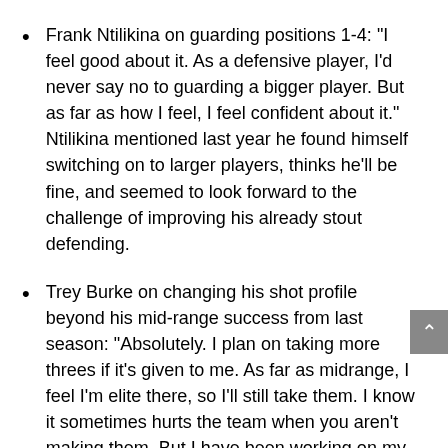Frank Ntilikina on guarding positions 1-4: “I feel good about it. As a defensive player, I’d never say no to guarding a bigger player. But as far as how I feel, I feel confident about it.” Ntilikina mentioned last year he found himself switching on to larger players, thinks he’ll be fine, and seemed to look forward to the challenge of improving his already stout defending.
Trey Burke on changing his shot profile beyond his mid-range success from last season: “Absolutely. I plan on taking more threes if it’s given to me. As far as midrange, I feel I’m elite there, so I’ll still take them. I know it sometimes hurts the team when you aren’t making them. But I have been working on my threes.” Burke’s midrange prowess, while lauded, has largely been deemed unsustainable. Burke seems to understand this, despite knowing that’s his bread and